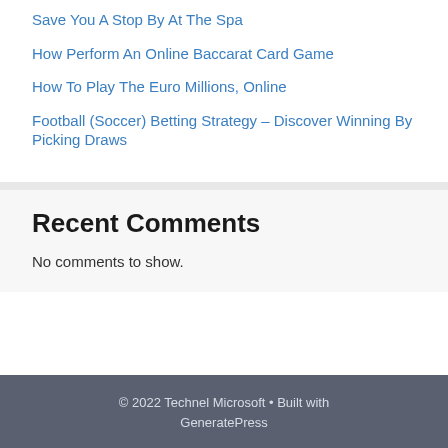Save You A Stop By At The Spa
How Perform An Online Baccarat Card Game
How To Play The Euro Millions, Online
Football (Soccer) Betting Strategy – Discover Winning By Picking Draws
Recent Comments
No comments to show.
© 2022 Technel Microsoft • Built with GeneratePress